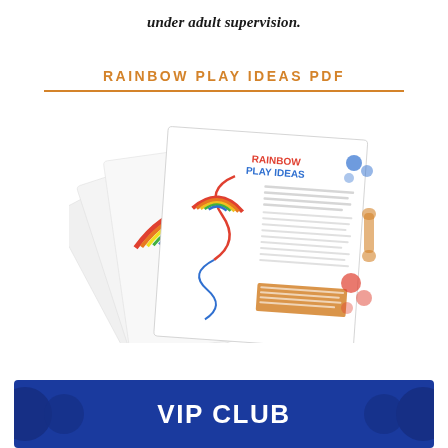under adult supervision.
RAINBOW PLAY IDEAS PDF
[Figure (photo): A fan of printed cards/booklet pages spread out showing 'Rainbow Play Ideas' with colorful rainbow toy illustrations on white cards]
[Figure (infographic): VIP CLUB banner with dark blue background and decorative circles]